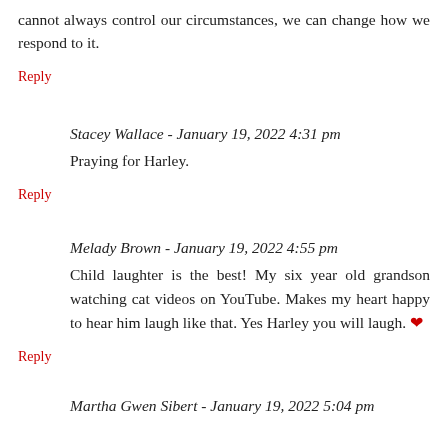cannot always control our circumstances, we can change how we respond to it.
Reply
Stacey Wallace - January 19, 2022 4:31 pm
Praying for Harley.
Reply
Melady Brown - January 19, 2022 4:55 pm
Child laughter is the best! My six year old grandson watching cat videos on YouTube. Makes my heart happy to hear him laugh like that. Yes Harley you will laugh. ❤
Reply
Martha Gwen Sibert - January 19, 2022 5:04 pm